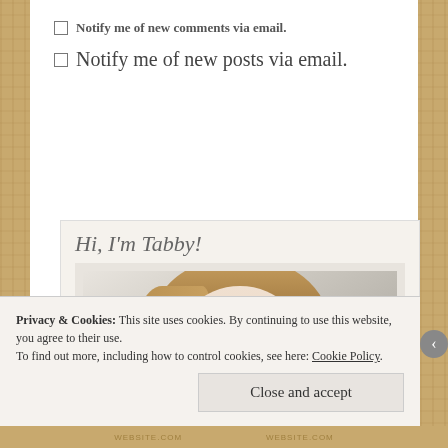Notify me of new comments via email.
Notify me of new posts via email.
[Figure (photo): Photo of a young woman with long blonde hair and black-rimmed glasses, smiling. Text overlay reads 'Hi, I'm Tabby!' at the top left of the image frame.]
Privacy & Cookies: This site uses cookies. By continuing to use this website, you agree to their use.
To find out more, including how to control cookies, see here: Cookie Policy
Close and accept